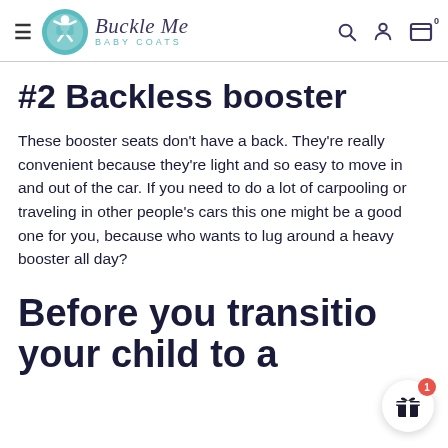Buckle Me Baby Coats — navigation header with logo, search, account, and cart icons
#2 Backless booster
These booster seats don't have a back. They're really convenient because they're light and so easy to move in and out of the car. If you need to do a lot of carpooling or traveling in other people's cars this one might be a good one for you, because who wants to lug around a heavy booster all day?
Before you transitio
your child to a